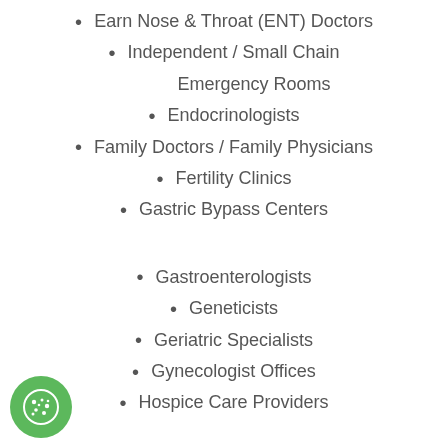Earn Nose & Throat (ENT) Doctors
Independent / Small Chain
Emergency Rooms
Endocrinologists
Family Doctors / Family Physicians
Fertility Clinics
Gastric Bypass Centers
Gastroenterologists
Geneticists
Geriatric Specialists
Gynecologist Offices
Hospice Care Providers